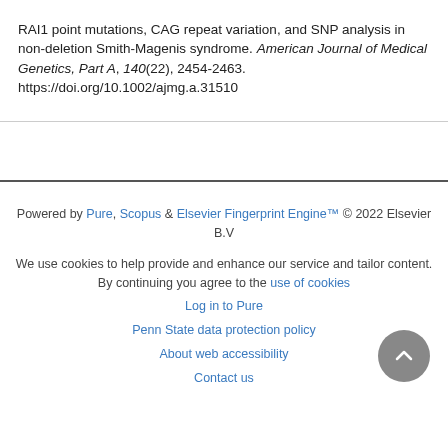RAI1 point mutations, CAG repeat variation, and SNP analysis in non-deletion Smith-Magenis syndrome. American Journal of Medical Genetics, Part A, 140(22), 2454-2463. https://doi.org/10.1002/ajmg.a.31510
Powered by Pure, Scopus & Elsevier Fingerprint Engine™ © 2022 Elsevier B.V
We use cookies to help provide and enhance our service and tailor content. By continuing you agree to the use of cookies
Log in to Pure
Penn State data protection policy
About web accessibility
Contact us